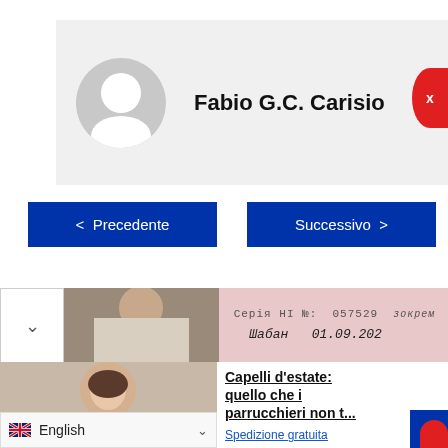Fabio G.C. Carisio
< Precedente
Successivo >
[Figure (photo): Person photo (woman) and a document with Cyrillic text: Серія НІ №: 057529 with handwritten text and date 01.09.202]
Capelli d'estate: quello che i parrucchieri non t...
Spedizione gratuita
English